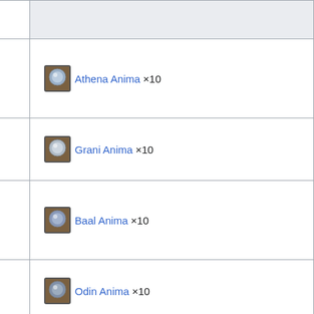| Action | Materials |
| --- | --- |
| 4★ |  |
| Uncap Athena (Summon) to 4★ | Athena Anima ×10 |
| Uncap Grani to 4★ | Grani Anima ×10 |
| Uncap Baal (Summon) to 4★ | Baal Anima ×10 |
| Uncap Odin to 4★ | Odin Anima ×10 |
| Uncap Lich (Summon) to 4★ | Lich Anima ×10 |
| Uncap Arcarum Summons to | 30 |